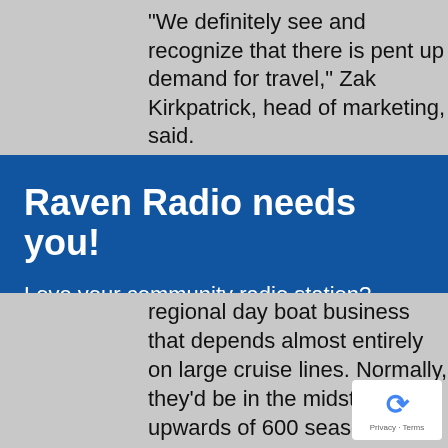“We definitely see and recognize that there is pent up demand for travel,” Zak Kirkpatrick, head of marketing, said.
Raven Radio needs you!
Love your community radio station? Interested in serving on our board of directors? Let us know your interest, and learn more about this opportunity.
[Figure (other): Red button reading 'Click here!']
regional day boat business that depends almost entirely on large cruise lines. Normally, they’d be in the midst of hiring upwards of 600 seasonal employees around